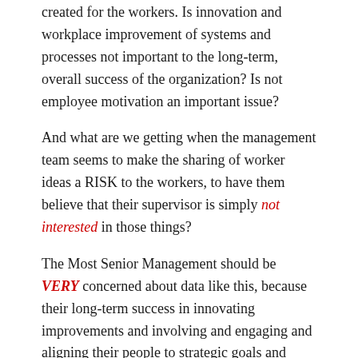created for the workers. Is innovation and workplace improvement of systems and processes not important to the long-term, overall success of the organization? Is not employee motivation an important issue?
And what are we getting when the management team seems to make the sharing of worker ideas a RISK to the workers, to have them believe that their supervisor is simply not interested in those things?
The Most Senior Management should be VERY concerned about data like this, because their long-term success in innovating improvements and involving and engaging and aligning their people to strategic goals and objectives seems very much at risk.